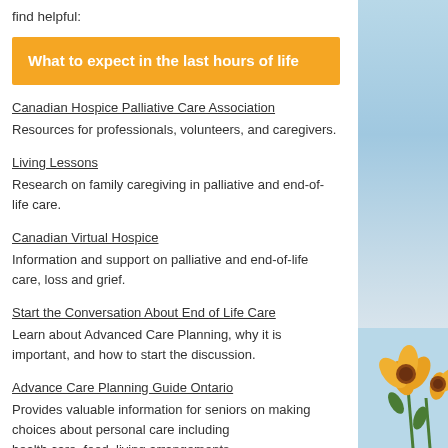find helpful:
What to expect in the last hours of life
Canadian Hospice Palliative Care Association
Resources for professionals, volunteers, and caregivers.
Living Lessons
Research on family caregiving in palliative and end-of-life care.
Canadian Virtual Hospice
Information and support on palliative and end-of-life care, loss and grief.
Start the Conversation About End of Life Care
Learn about Advanced Care Planning, why it is important, and how to start the discussion.
Advance Care Planning Guide Ontario
Provides valuable information for seniors on making choices about personal care including health care, food, living arrangements,